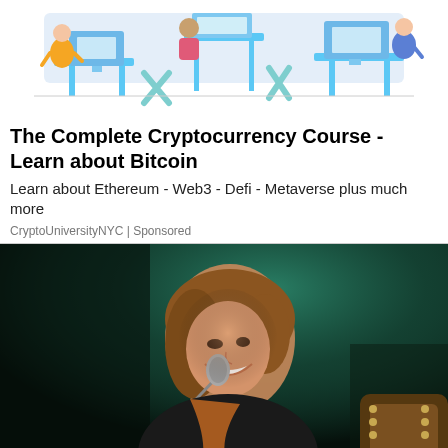[Figure (illustration): Colorful digital illustration of people working at computers/desks in a modern office style, used as advertisement banner graphic]
The Complete Cryptocurrency Course - Learn about Bitcoin
Learn about Ethereum - Web3 - Defi - Metaverse plus much more
CryptoUniversityNYC | Sponsored
[Figure (photo): Concert photo of a smiling woman with reddish-brown hair playing guitar and singing into a microphone, lit with teal/green stage lighting against a dark background]